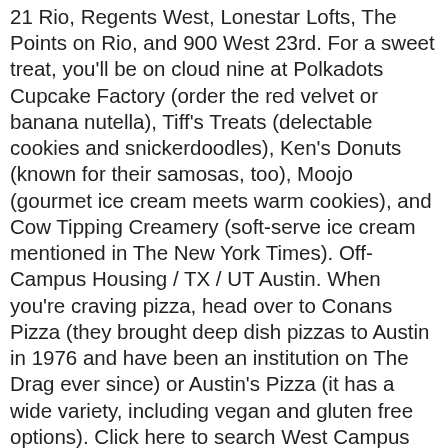21 Rio, Regents West, Lonestar Lofts, The Points on Rio, and 900 West 23rd. For a sweet treat, you'll be on cloud nine at Polkadots Cupcake Factory (order the red velvet or banana nutella), Tiff's Treats (delectable cookies and snickerdoodles), Ken's Donuts (known for their samosas, too), Moojo (gourmet ice cream meets warm cookies), and Cow Tipping Creamery (soft-serve ice cream mentioned in The New York Times). Off-Campus Housing / TX / UT Austin. When you're craving pizza, head over to Conans Pizza (they brought deep dish pizzas to Austin in 1976 and have been an institution on The Drag ever since) or Austin's Pizza (it has a wide variety, including vegan and gluten free options). Click here to search West Campus apartments and rentals. Share Apply. As a result, developers were given the green light to construct high-rise residential buildings in West Campus. 1 Bedroom … Contact us today to schedule your tour and decide if The Ruckus is the right place for your new West Campus home. Lenoir City. MORE SEARCH OPTIONS. 1101 sqft. The Zipcar and car2go services are available in the campus area if you ever need to make a quick trip in a vehicle. For with on out but dining in